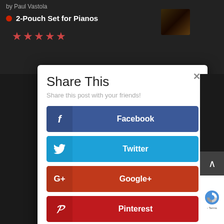by Paul Vastola
2-Pouch Set for Pianos
[Figure (screenshot): Social sharing modal dialog with Share This title and buttons for Facebook, Twitter, Google+, Pinterest, LinkedIn, and Tumblr]
Share This
Share this post with your friends!
Facebook
Twitter
Google+
Pinterest
LinkedIn
Tumblr